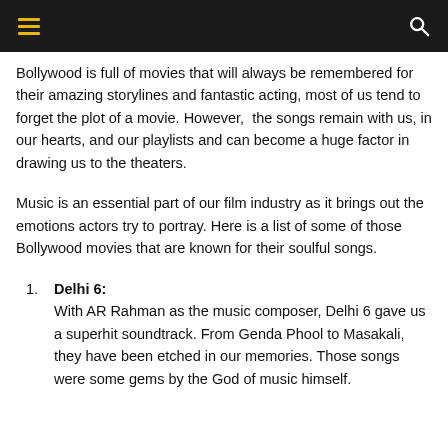≡  🔍
Bollywood is full of movies that will always be remembered for their amazing storylines and fantastic acting, most of us tend to forget the plot of a movie. However,  the songs remain with us, in our hearts, and our playlists and can become a huge factor in drawing us to the theaters.
Music is an essential part of our film industry as it brings out the emotions actors try to portray. Here is a list of some of those Bollywood movies that are known for their soulful songs.
Delhi 6: With AR Rahman as the music composer, Delhi 6 gave us a superhit soundtrack. From Genda Phool to Masakali, they have been etched in our memories. Those songs were some gems by the God of music himself.